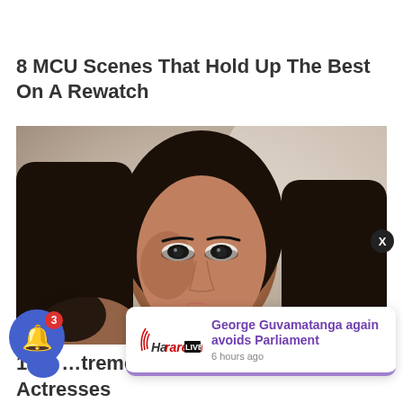8 MCU Scenes That Hold Up The Best On A Rewatch
[Figure (photo): Close-up portrait photo of a woman with long dark hair, dark eye makeup, and olive skin, looking sideways at the camera]
George Guvamatanga again avoids Parliament
6 hours ago
1 Extremely Gorgeous Asian Actresses